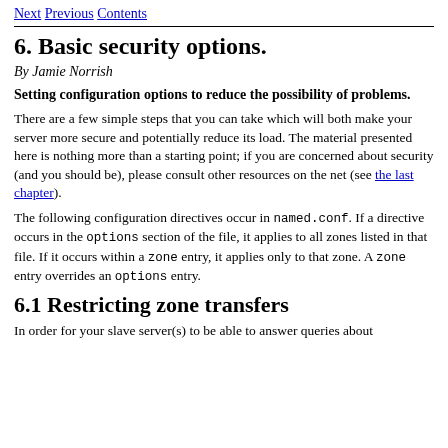Next  Previous  Contents
6. Basic security options.
By Jamie Norrish
Setting configuration options to reduce the possibility of problems.
There are a few simple steps that you can take which will both make your server more secure and potentially reduce its load. The material presented here is nothing more than a starting point; if you are concerned about security (and you should be), please consult other resources on the net (see the last chapter).
The following configuration directives occur in named.conf. If a directive occurs in the options section of the file, it applies to all zones listed in that file. If it occurs within a zone entry, it applies only to that zone. A zone entry overrides an options entry.
6.1 Restricting zone transfers
In order for your slave server(s) to be able to answer queries about